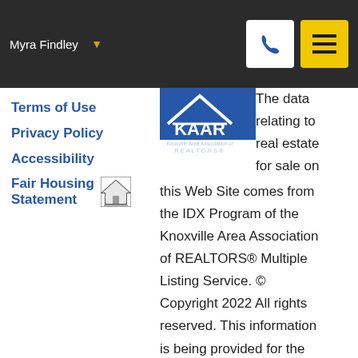Myra Findley
Terms of Use
Privacy Policy
Accessibility
Fair Housing Statement
[Figure (logo): KAAR - Knoxville Area Association of REALTORS logo]
The data relating to real estate for sale on this Web Site comes from the IDX Program of the Knoxville Area Association of REALTORS® Multiple Listing Service. © Copyright 2022 All rights reserved. This information is being provided for the consumers' personal, non-commercial use and may not be used for any